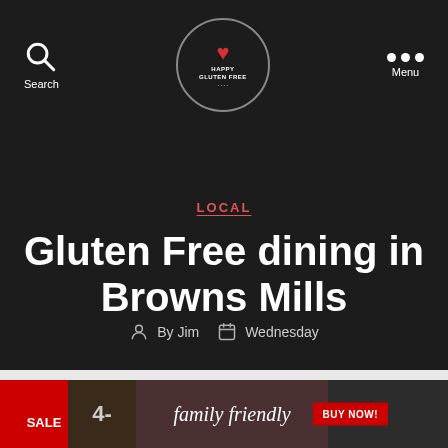Search | Happy Gluten Free | Menu
LOCAL
Gluten Free dining in Browns Mills
By Jim  Wednesday
[Figure (infographic): Advertisement strip with SALE badge, number 4, family friendly text, BUY NOW button, and blueberries image]